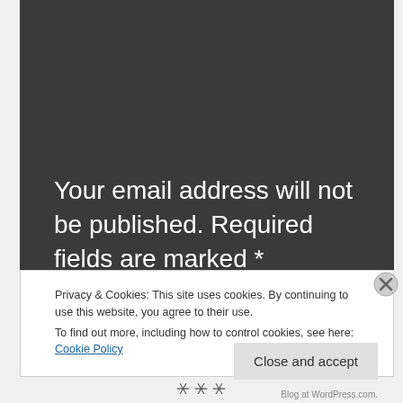Your email address will not be published. Required fields are marked *
Privacy & Cookies: This site uses cookies. By continuing to use this website, you agree to their use.
To find out more, including how to control cookies, see here: Cookie Policy
Close and accept